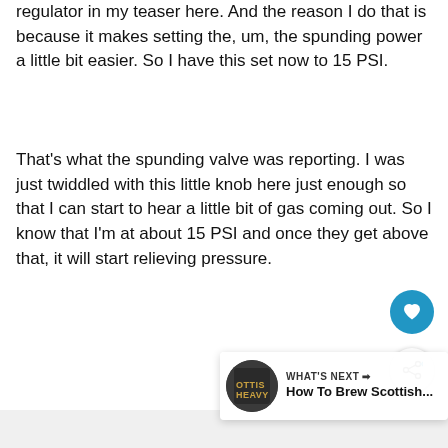regulator in my teaser here. And the reason I do that is because it makes setting the, um, the spunding power a little bit easier. So I have this set now to 15 PSI.
That's what the spunding valve was reporting. I was just twiddled with this little knob here just enough so that I can start to hear a little bit of gas coming out. So I know that I'm at about 15 PSI and once they get above that, it will start relieving pressure.
[Figure (other): Heart/favorite button (teal circle with white heart icon)]
[Figure (other): Share button (white circle with share icon)]
[Figure (other): What's Next card showing thumbnail for 'How To Brew Scottish...' video]